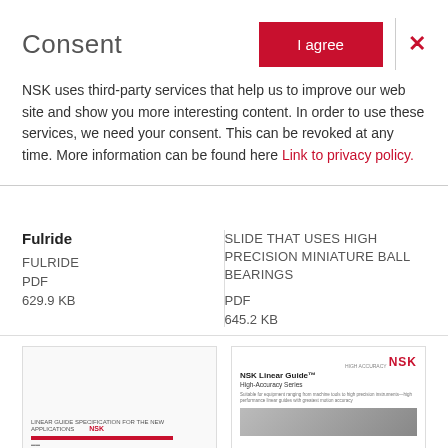Consent
NSK uses third-party services that help us to improve our web site and show you more interesting content. In order to use these services, we need your consent. This can be revoked at any time. More information can be found here Link to privacy policy.
Fulride
FULRIDE
PDF
629.9 KB
SLIDE THAT USES HIGH PRECISION MINIATURE BALL BEARINGS
PDF
645.2 KB
[Figure (screenshot): Thumbnail of a document with NSK red bar at bottom and small text]
[Figure (screenshot): Thumbnail of NSK Linear Guide High-Accuracy Series brochure cover with NSK logo in red and product image]